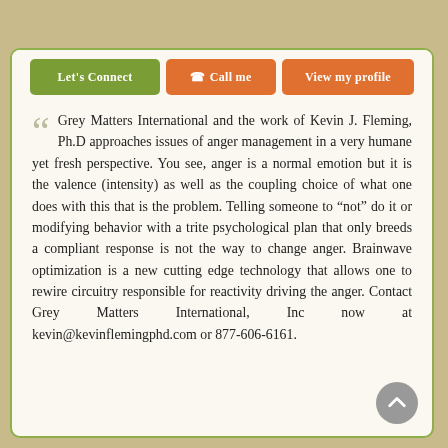Let's Connect | Call me | View my profile
Grey Matters International and the work of Kevin J. Fleming, Ph.D approaches issues of anger management in a very humane yet fresh perspective. You see, anger is a normal emotion but it is the valence (intensity) as well as the coupling choice of what one does with this that is the problem. Telling someone to "not" do it or modifying behavior with a trite psychological plan that only breeds a compliant response is not the way to change anger. Brainwave optimization is a new cutting edge technology that allows one to rewire circuitry responsible for reactivity driving the anger. Contact Grey Matters International, Inc now at kevin@kevinflemingphd.com or 877-606-6161.